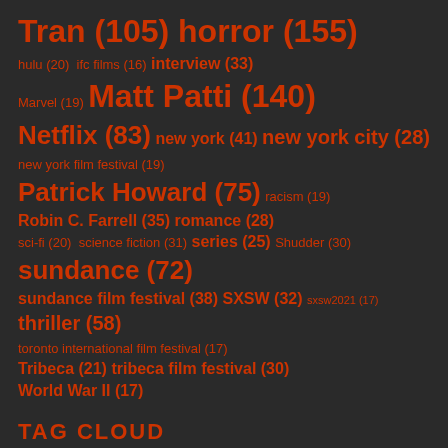[Figure (infographic): Tag cloud showing various tags with counts, rendered in orange text on dark background. Tags include: Tran (105), horror (155), hulu (20), ifc films (16), interview (33), Marvel (19), Matt Patti (140), Netflix (83), new york (41), new york city (28), new york film festival (19), Patrick Howard (75), racism (19), Robin C. Farrell (35), romance (28), sci-fi (20), science fiction (31), series (25), Shudder (30), sundance (72), sundance film festival (38), SXSW (32), sxsw2021 (17), thriller (58), toronto international film festival (17), Tribeca (21), tribeca film festival (30), World War II (17)]
TAG CLOUD